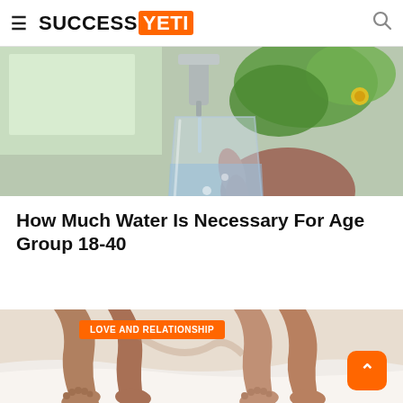SUCCESS YETI
[Figure (photo): Hand holding a glass being filled with water from a faucet, with green plants in background]
How Much Water Is Necessary For Age Group 18-40
[Figure (photo): Couple's legs intertwined in bed with white sheets, partially visible]
LOVE AND RELATIONSHIP